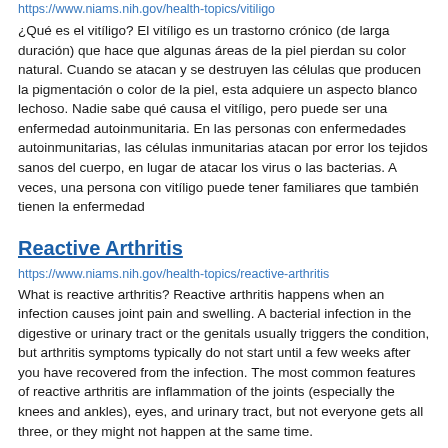https://www.niams.nih.gov/health-topics/vitiligo
¿Qué es el vitíligo? El vitíligo es un trastorno crónico (de larga duración) que hace que algunas áreas de la piel pierdan su color natural. Cuando se atacan y se destruyen las células que producen la pigmentación o color de la piel, esta adquiere un aspecto blanco lechoso. Nadie sabe qué causa el vitíligo, pero puede ser una enfermedad autoinmunitaria. En las personas con enfermedades autoinmunitarias, las células inmunitarias atacan por error los tejidos sanos del cuerpo, en lugar de atacar los virus o las bacterias. A veces, una persona con vitíligo puede tener familiares que también tienen la enfermedad
Reactive Arthritis
https://www.niams.nih.gov/health-topics/reactive-arthritis
What is reactive arthritis? Reactive arthritis happens when an infection causes joint pain and swelling. A bacterial infection in the digestive or urinary tract or the genitals usually triggers the condition, but arthritis symptoms typically do not start until a few weeks after you have recovered from the infection. The most common features of reactive arthritis are inflammation of the joints (especially the knees and ankles), eyes, and urinary tract, but not everyone gets all three, or they might not happen at the same time.